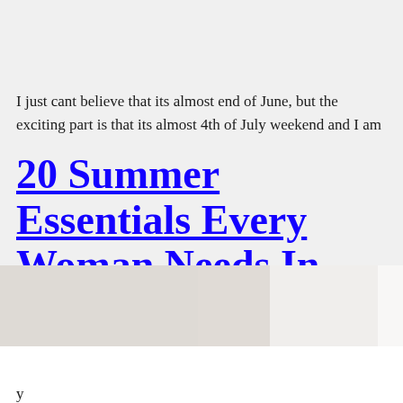I just cant believe that its almost end of June, but the exciting part is that its almost 4th of July weekend and I am
20 Summer Essentials Every Woman Needs In Her Closet
[Figure (photo): Partial photo of a woman, shown from below with light/white background on right side]